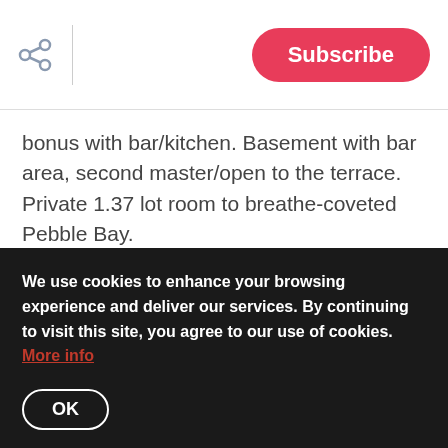Subscribe
bonus with bar/kitchen. Basement with bar area, second master/open to the terrace. Private 1.37 lot room to breathe-coveted Pebble Bay.
2 – 4 pm
This move-in-ready home is an outstanding property! The open floor plan is great for entertaining and being
We use cookies to enhance your browsing experience and deliver our services. By continuing to visit this site, you agree to our use of cookies. More info
OK